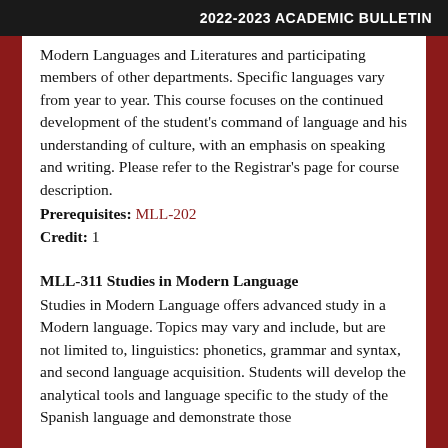2022-2023 ACADEMIC BULLETIN
Modern Languages and Literatures and participating members of other departments. Specific languages vary from year to year. This course focuses on the continued development of the student's command of language and his understanding of culture, with an emphasis on speaking and writing. Please refer to the Registrar's page for course description.
Prerequisites: MLL-202
Credit: 1
MLL-311 Studies in Modern Language
Studies in Modern Language offers advanced study in a Modern language. Topics may vary and include, but are not limited to, linguistics: phonetics, grammar and syntax, and second language acquisition. Students will develop the analytical tools and language specific to the study of the Spanish language and demonstrate those